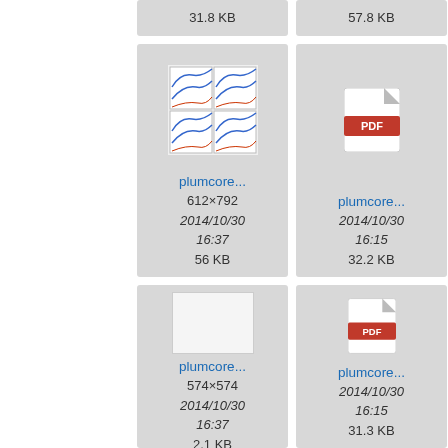[Figure (screenshot): File browser grid showing file thumbnails with filenames 'plumcore...', sizes and dates. Top partial row shows 31.8 KB and 57.8 KB. Second row: image thumbnail (612x792, 2014/10/30 16:37, 56 KB) and PDF icon (2014/10/30 16:15, 32.2 KB) and partial third. Third row: blank thumbnail (574x574, 2014/10/30 16:37, 2.1 KB) and PDF icon (2014/10/30 16:15, 31.3 KB) and partial third.]